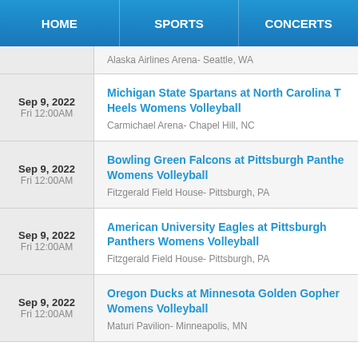HOME | SPORTS | CONCERTS
Alaska Airlines Arena- Seattle, WA
Sep 9, 2022 Fri 12:00AM — Michigan State Spartans at North Carolina Tar Heels Womens Volleyball — Carmichael Arena- Chapel Hill, NC
Sep 9, 2022 Fri 12:00AM — Bowling Green Falcons at Pittsburgh Panthers Womens Volleyball — Fitzgerald Field House- Pittsburgh, PA
Sep 9, 2022 Fri 12:00AM — American University Eagles at Pittsburgh Panthers Womens Volleyball — Fitzgerald Field House- Pittsburgh, PA
Sep 9, 2022 Fri 12:00AM — Oregon Ducks at Minnesota Golden Gophers Womens Volleyball — Maturi Pavilion- Minneapolis, MN